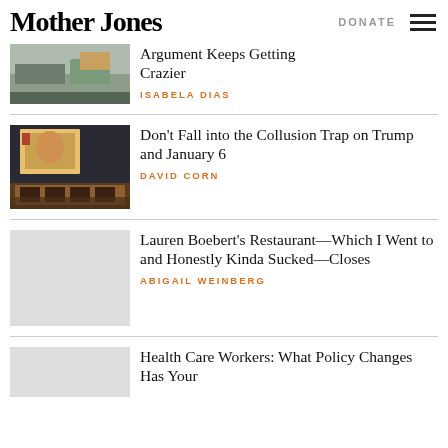Mother Jones | DONATE
Argument Keeps Getting Crazier
ISABELA DIAS
Don't Fall into the Collusion Trap on Trump and January 6
DAVID CORN
Lauren Boebert's Restaurant—Which I Went to and Honestly Kinda Sucked—Closes
ABIGAIL WEINBERG
Health Care Workers: What Policy Changes Has Your